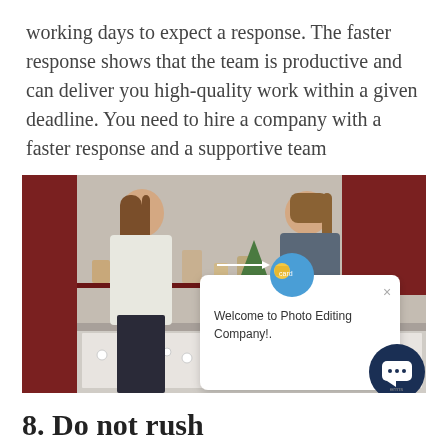working days to expect a response. The faster response shows that the team is productive and can deliver you high-quality work within a given deadline. You need to hire a company with a faster response and a supportive team
[Figure (photo): Photo of a jewelry store with two women — a customer with long hair in a white blouse and a sales associate in uniform — at a display counter. A chat popup overlay reads 'Welcome to Photo Editing Company!.' with a circular chat button in the bottom right.]
8. Do not rush